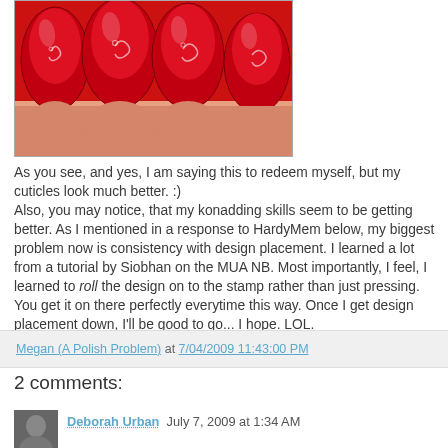[Figure (photo): Close-up photo of red painted fingernails with white swirl/floral designs on the nails]
As you see, and yes, I am saying this to redeem myself, but my cuticles look much better. :)
Also, you may notice, that my konadding skills seem to be getting better. As I mentioned in a response to HardyMem below, my biggest problem now is consistency with design placement. I learned a lot from a tutorial by Siobhan on the MUA NB. Most importantly, I feel, I learned to roll the design on to the stamp rather than just pressing. You get it on there perfectly everytime this way. Once I get design placement down, I'll be good to go... I hope. LOL.
Megan (A Polish Problem) at 7/04/2009 11:43:00 PM
2 comments:
Deborah Urban  July 7, 2009 at 1:34 AM